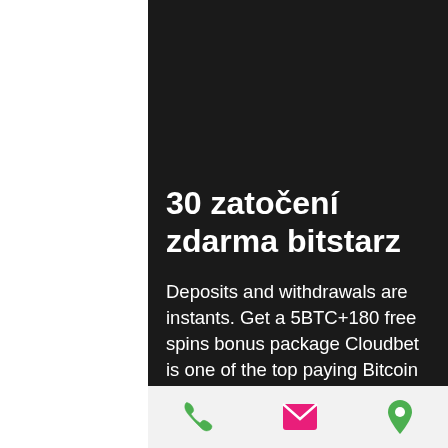30 zatočení zdarma bitstarz
Deposits and withdrawals are instants. Get a 5BTC+180 free spins bonus package Cloudbet is one of the top paying Bitcoin sportsbook and casino, with relatively high odds and appropriately massive returns on investment for those who gamble on table games and slot machines. As a bitcoin bookmaker, it endeavors to meet the needs of both high rollers and beginners, by allowing them to bet big sums as well as tiny amounts, 30 zatočení zdarma bitstarz. Cloudbet doesn't require any identifying
[Figure (infographic): Bottom navigation bar with three icons: green phone icon, pink/magenta envelope icon, green map pin icon]